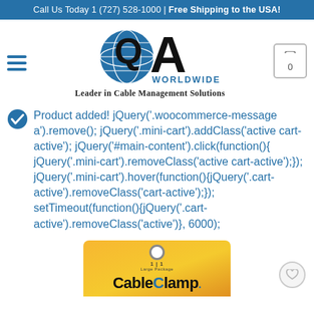Call Us Today 1 (727) 528-1000 | Free Shipping to the USA!
[Figure (logo): QA Worldwide logo with globe graphic and text 'QA WORLDWIDE - Leader in Cable Management Solutions']
Product added! jQuery('.woocommerce-message a').remove(); jQuery('.mini-cart').addClass('active cart-active'); jQuery('#main-content').click(function(){ jQuery('.mini-cart').removeClass('active cart-active');}); jQuery('.mini-cart').hover(function(){jQuery('.cart-active').removeClass('cart-active');}); setTimeout(function(){jQuery('.cart-active').removeClass('active')}, 6000);
[Figure (photo): Cable Clamp product packaging on yellow/orange card with hang hole, partially visible at bottom of page]